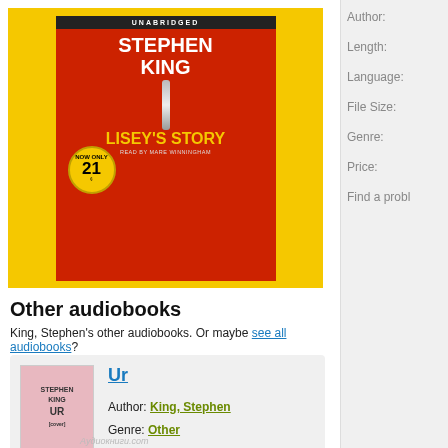[Figure (photo): Audiobook cover for Lisey's Story by Stephen King. Red cover with white bold text STEPHEN KING at top, LISEY'S STORY at bottom in yellow. Center has a chain/key image and a gold badge with '21'. Black bar at top says UNABRIDGED. Read by Mare Winningham text at bottom. Surrounded by yellow background.]
Other audiobooks
King, Stephen's other audiobooks. Or maybe see all audiobooks?
[Figure (photo): Small thumbnail cover of Ur by Stephen King, pink/light red background with STEPHEN KING and UR text visible.]
Ur
Author: King, Stephen
Genre: Other
Author:
Length:
Language:
File Size:
Genre:
Price:
Find a probl